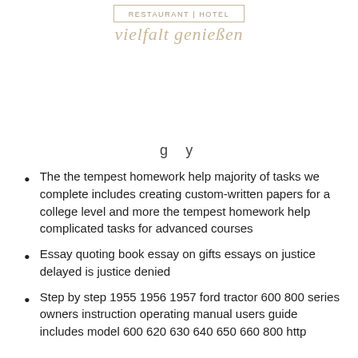[Figure (logo): Restaurant | Hotel logo with decorative border and script tagline 'vielfalt genießen']
The the tempest homework help majority of tasks we complete includes creating custom-written papers for a college level and more the tempest homework help complicated tasks for advanced courses
Essay quoting book essay on gifts essays on justice delayed is justice denied
Step by step 1955 1956 1957 ford tractor 600 800 series owners instruction operating manual users guide includes model 600 620 630 640 650 660 800 http